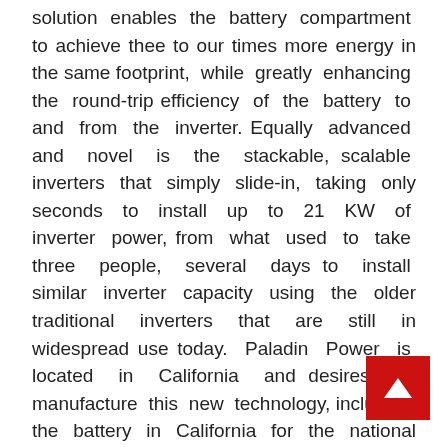solution enables the battery compartment to achieve three to our times more energy in the same footprint, while greatly enhancing the round-trip efficiency of the battery to and from the inverter. Equally advanced and novel is the stackable, scalable inverters that simply slide-in, taking only seconds to install up to 21 KW of inverter power, from what used to take three people, several days to install similar inverter capacity using the older traditional inverters that are still in widespread use today. Paladin Power is located in California and desires to manufacture this new technology, including the battery in California for the national and global markets. For additional information about Paladin Power, visit its website at www.paladinpower.com.
Cautionary Note Regarding Forward-Looking